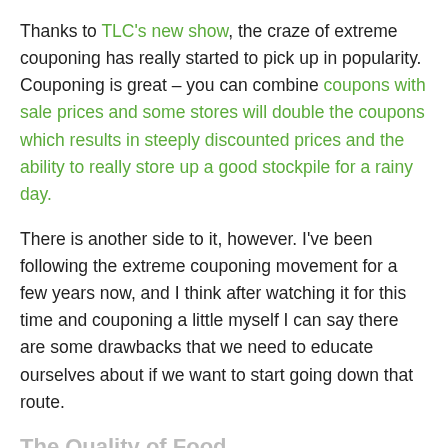Thanks to TLC's new show, the craze of extreme couponing has really started to pick up in popularity. Couponing is great – you can combine coupons with sale prices and some stores will double the coupons which results in steeply discounted prices and the ability to really store up a good stockpile for a rainy day.
There is another side to it, however. I've been following the extreme couponing movement for a few years now, and I think after watching it for this time and couponing a little myself I can say there are some drawbacks that we need to educate ourselves about if we want to start going down that route.
The Quality of Food